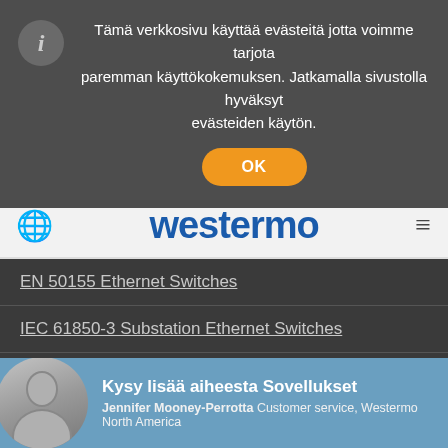Tämä verkkosivu käyttää evästeitä jotta voimme tarjota paremman käyttökokemuksen. Jatkamalla sivustolla hyväksyt evästeiden käytön.
OK
[Figure (logo): Westermo company logo in blue on light grey navbar]
EN 50155 Ethernet Switches
IEC 61850-3 Substation Ethernet Switches
TOIMIALA
Trains and Railway
Energy
Oil and Gas
me and Offshore
Kysy lisää aiheesta Sovellukset
Jennifer Mooney-Perrotta Customer service, Westermo North America